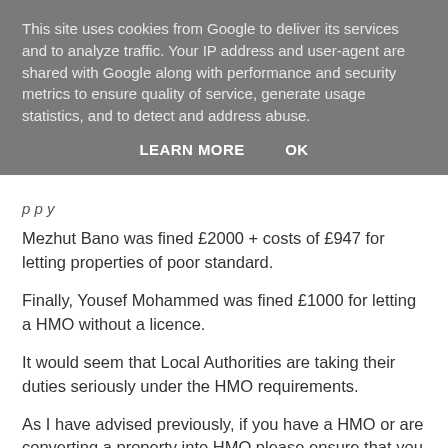This site uses cookies from Google to deliver its services and to analyze traffic. Your IP address and user-agent are shared with Google along with performance and security metrics to ensure quality of service, generate usage statistics, and to detect and address abuse.
LEARN MORE   OK
Mezhut Bano was fined £2000 + costs of £947 for letting properties of poor standard.
Finally, Yousef Mohammed was fined £1000 for letting a HMO without a licence.
It would seem that Local Authorities are taking their duties seriously under the HMO requirements.
As I have advised previously, if you have a HMO or are converting a property into HMO please ensure that you contact your Local Authority to find out what the requirements are, and then ensure that you comply with these requirements.